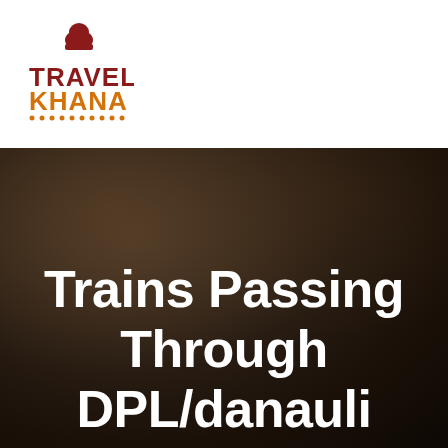[Figure (logo): Travel Khana logo — chef hat icon above the text TRAVEL in dark red/maroon and KHANA in orange, with decorative dots beneath]
Trains Passing Through DPL/danauli phulwaria